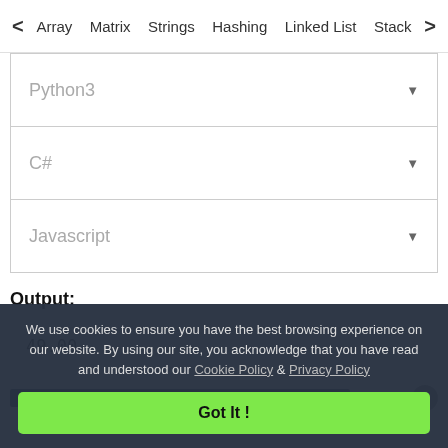< Array   Matrix   Strings   Hashing   Linked List   Stack >
Python3
C#
Javascript
Output:
49.00
We use cookies to ensure you have the best browsing experience on our website. By using our site, you acknowledge that you have read and understood our Cookie Policy & Privacy Policy
Got It !